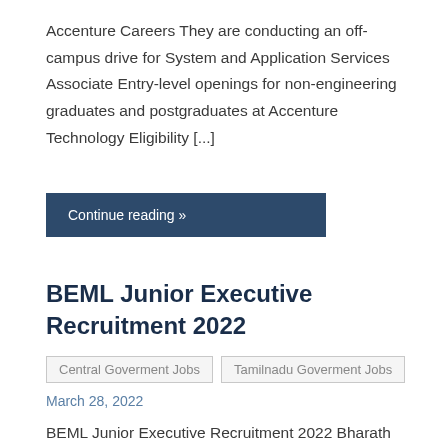Accenture Careers They are conducting an off-campus drive for System and Application Services Associate Entry-level openings for non-engineering graduates and postgraduates at Accenture Technology Eligibility [...]
Continue reading »
BEML Junior Executive Recruitment 2022
Central Goverment Jobs   Tamilnadu Goverment Jobs
March 28, 2022
BEML Junior Executive Recruitment 2022 Bharath Earth Movers Limited has released the notification for the